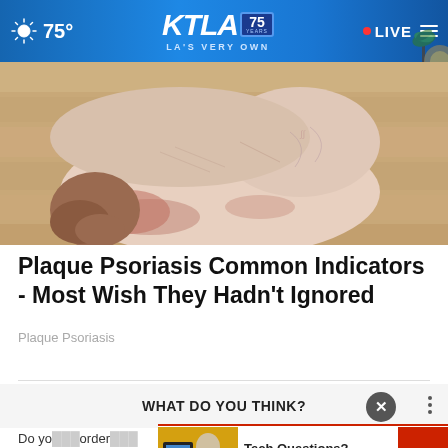KTLA 75 YEARS — LA'S VERY OWN | 75° | LIVE
[Figure (photo): Close-up photo of a human foot and heel resting on a wooden floor, showing dry, scaly skin associated with plaque psoriasis]
Plaque Psoriasis Common Indicators - Most Wish They Hadn't Ignored
Plaque Psoriasis
WHAT DO YOU THINK?
Do you think Congress should order the release of the full Robert Mueller report after Attorney General William Barr after the release of the Mueller report?
[Figure (screenshot): Tech Questions? SENIOR PLANET Answers! advertisement banner with image of elderly woman at computer]